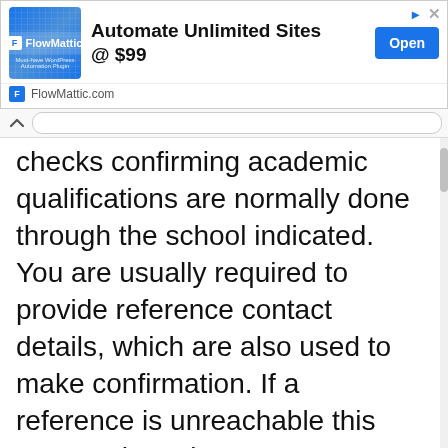[Figure (screenshot): FlowMattic advertisement banner: logo on left, 'Automate Unlimited Sites @ $99' text in center, blue 'Open' button on right, FlowMattic.com URL in footer]
Checks confirming academic qualifications are normally done through the school indicated. You are usually required to provide reference contact details, which are also used to make confirmation. If a reference is unreachable this may work against you, so ensure the details are current.
Professional license background checks can also be conducted. they confirm that the person does indeed have a valid